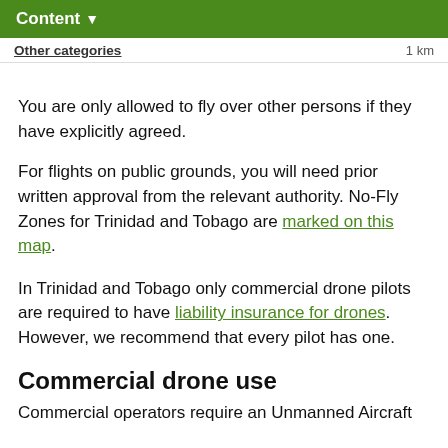Content ▾
Other categories  1 km
You are only allowed to fly over other persons if they have explicitly agreed.
For flights on public grounds, you will need prior written approval from the relevant authority. No-Fly Zones for Trinidad and Tobago are marked on this map.
In Trinidad and Tobago only commercial drone pilots are required to have liability insurance for drones. However, we recommend that every pilot has one.
Commercial drone use
Commercial operators require an Unmanned Aircraft